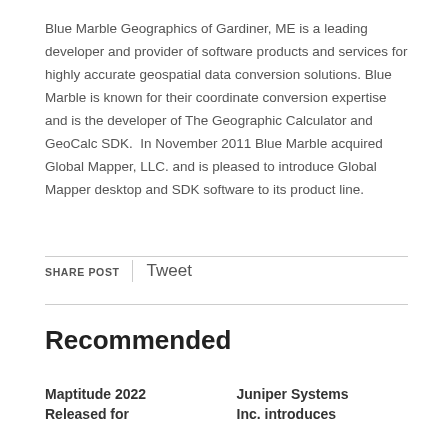Blue Marble Geographics of Gardiner, ME is a leading developer and provider of software products and services for highly accurate geospatial data conversion solutions. Blue Marble is known for their coordinate conversion expertise and is the developer of The Geographic Calculator and GeoCalc SDK.  In November 2011 Blue Marble acquired Global Mapper, LLC. and is pleased to introduce Global Mapper desktop and SDK software to its product line.
SHARE POST | Tweet
Recommended
Maptitude 2022 Released for...
Juniper Systems Inc. introduces...